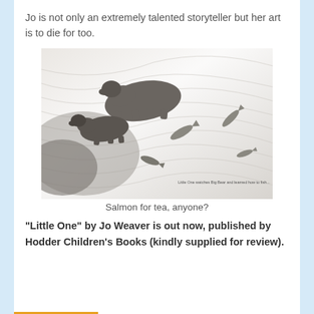Jo is not only an extremely talented storyteller but her art is to die for too.
[Figure (illustration): Pencil sketch illustration showing two bears at the top of a waterfall with fish leaping in the foreground. Small caption text reads: Little One watches Big Bear and learned how to fish...]
Salmon for tea, anyone?
"Little One" by Jo Weaver is out now, published by Hodder Children's Books (kindly supplied for review).